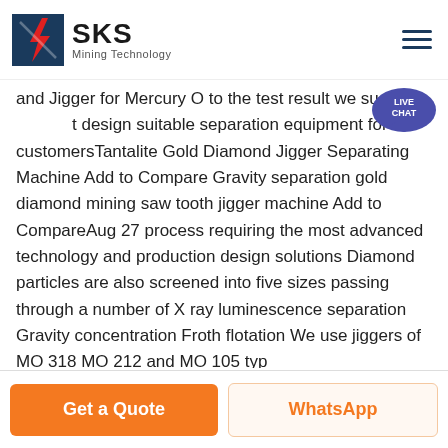SKS Mining Technology
and Jigger for Mercury O to the test result we suggest design suitable separation equipment for our customersTantalite Gold Diamond Jigger Separating Machine Add to Compare Gravity separation gold diamond mining saw tooth jigger machine Add to CompareAug 27 process requiring the most advanced technology and production design solutions Diamond particles are also screened into five sizes passing through a number of X ray luminescence separation Gravity concentration Froth flotation We use jiggers of MO 318 MO 212 and MO 105 typ
Get a Quote | WhatsApp